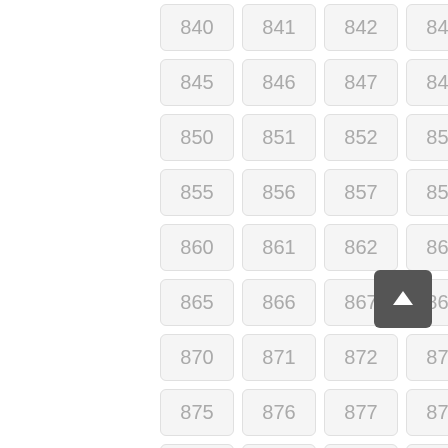| 840 | 841 | 842 | 843 | 844 |
| 845 | 846 | 847 | 848 | 849 |
| 850 | 851 | 852 | 853 | 854 |
| 855 | 856 | 857 | 858 | 859 |
| 860 | 861 | 862 | 863 | 864 |
| 865 | 866 | 867 | 868 | 869 |
| 870 | 871 | 872 | 873 | 874 |
| 875 | 876 | 877 | 878 | 879 |
| 880 | 881 | 882 | 883 | 884 |
[Figure (other): Back-to-top button: dark gray rounded square with white upward arrow]